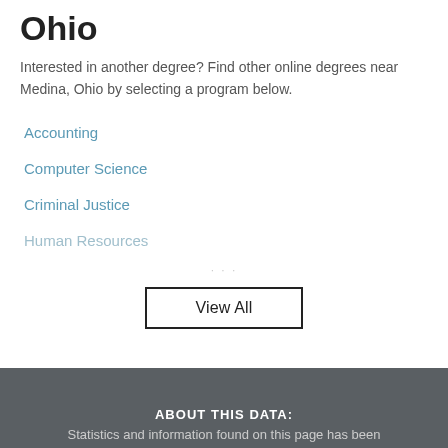Ohio
Interested in another degree? Find other online degrees near Medina, Ohio by selecting a program below.
Accounting
Computer Science
Criminal Justice
Human Resources
ABOUT THIS DATA:
Statistics and information found on this page has been